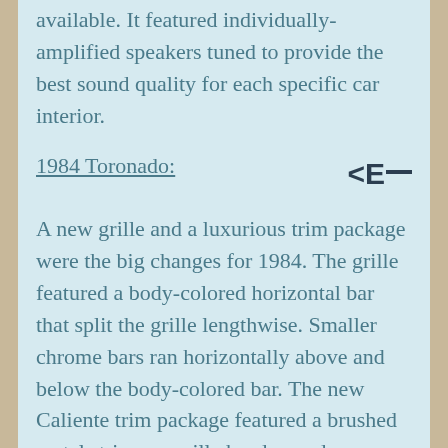available. It featured individually-amplified speakers tuned to provide the best sound quality for each specific car interior.
1984 Toronado:
A new grille and a luxurious trim package were the big changes for 1984. The grille featured a body-colored horizontal bar that split the grille lengthwise. Smaller chrome bars ran horizontally above and below the body-colored bar. The new Caliente trim package featured a brushed metal strip as a grille header, and was duplicated on the lower edge of the trunk lid. Heavy brushed metal side moldings ran from the tip of the front fender to the rear edge of the rear quarter panel. A heavily-padded Landau vinyl roof with brushed metal wrap over molding and Caliente nameplates just behind the rear side glass made this trim package stand out,